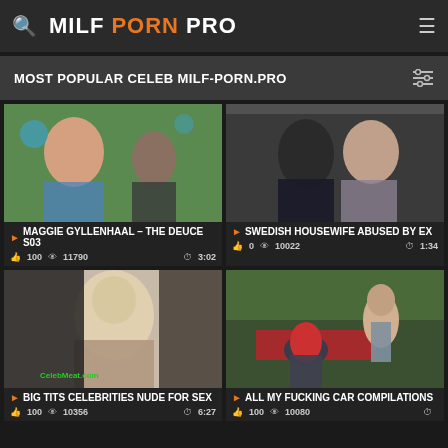MILF PORN PRO
MOST POPULAR CELEB MILF-PORN.PRO
[Figure (screenshot): Thumbnail of woman in blue near pool]
MAGGIE GYLLENHAAL - THE DEUCE S03
100  11790  3:02
[Figure (screenshot): Thumbnail of couple close together indoors]
SWEDISH HOUSEWIFE ABUSED BY EX
0  10022  1:34
[Figure (screenshot): Thumbnail with blonde woman and dark figure]
BIG TITS CELEBRITIES NUDE FOR SEX
100  10356  6:27
[Figure (screenshot): Thumbnail of outdoor scene by car]
ALL MY FUCKING CAR COMPILATIONS
100  10080